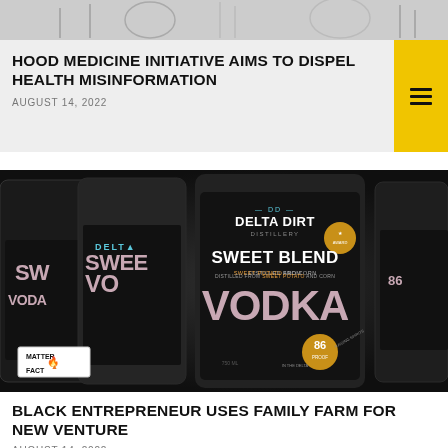[Figure (photo): Top decorative banner with faint silhouette shapes on gray background]
HOOD MEDICINE INITIATIVE AIMS TO DISPEL HEALTH MISINFORMATION
AUGUST 14, 2022
[Figure (photo): Photo of Delta Dirt Distillery Sweet Blend Vodka bottles with black labels showing 'SWEET BLEND VODKA' text, 86 proof, distilled from sweet potatoes and corn. Matter of Fact logo watermark in bottom left.]
BLACK ENTREPRENEUR USES FAMILY FARM FOR NEW VENTURE
AUGUST 14, 2022